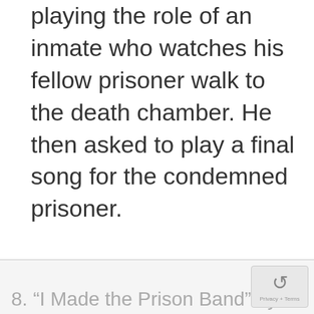playing the role of an inmate who watches his fellow prisoner walk to the death chamber. He then asked to play a final song for the condemned prisoner.
8. “I Made the Prison Band” by